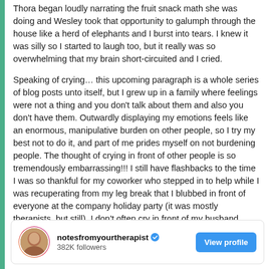Thora began loudly narrating the fruit snack math she was doing and Wesley took that opportunity to galumph through the house like a herd of elephants and I burst into tears. I knew it was silly so I started to laugh too, but it really was so overwhelming that my brain short-circuited and I cried.
Speaking of crying… this upcoming paragraph is a whole series of blog posts unto itself, but I grew up in a family where feelings were not a thing and you don't talk about them and also you don't have them. Outwardly displaying my emotions feels like an enormous, manipulative burden on other people, so I try my best not to do it, and part of me prides myself on not burdening people. The thought of crying in front of other people is so tremendously embarrassing!!! I still have flashbacks to the time I was so thankful for my coworker who stepped in to help while I was recuperating from my leg break that I blubbed in front of everyone at the company holiday party (it was mostly therapists, but still). I don't often cry in front of my husband.
[Figure (other): Instagram profile card for notesfromyourtherapist with verified badge, 382K followers, and a View profile button]